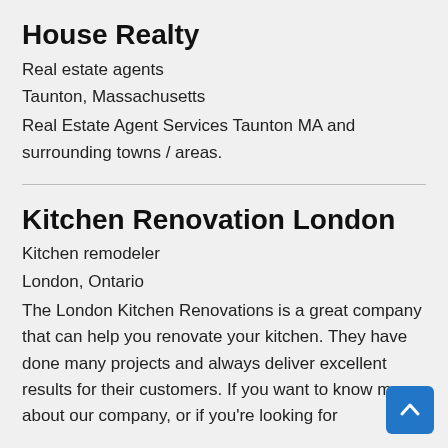House Realty
Real estate agents
Taunton, Massachusetts
Real Estate Agent Services Taunton MA and surrounding towns / areas.
Kitchen Renovation London
Kitchen remodeler
London, Ontario
The London Kitchen Renovations is a great company that can help you renovate your kitchen. They have done many projects and always deliver excellent results for their customers. If you want to know more about our company, or if you're looking for